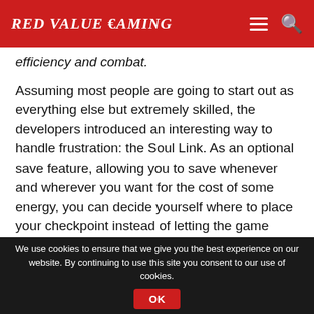Red Value €aming
efficiency and combat.
Assuming most people are going to start out as everything else but extremely skilled, the developers introduced an interesting way to handle frustration: the Soul Link. As an optional save feature, allowing you to save whenever and wherever you want for the cost of some energy, you can decide yourself where to place your checkpoint instead of letting the game decide for you. The fact that it costs energy though, demands that you think carefully exactly when to use it, especially since you also need it if you want to use
We use cookies to ensure that we give you the best experience on our website. By continuing to use this site you consent to our use of cookies.